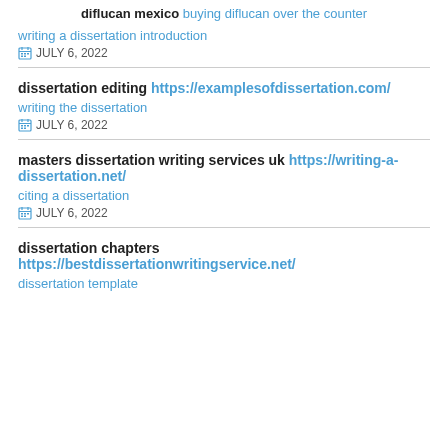diflucan mexico buying diflucan over the counter
writing a dissertation introduction
JULY 6, 2022
dissertation editing https://examplesofdissertation.com/
writing the dissertation
JULY 6, 2022
masters dissertation writing services uk https://writing-a-dissertation.net/
citing a dissertation
JULY 6, 2022
dissertation chapters https://bestdissertationwritingservice.net/
dissertation template